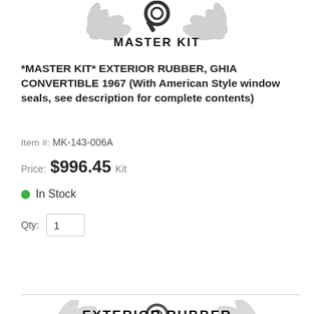[Figure (logo): Master Kit logo with laurel wreath and bold 'MASTER KIT' text in black]
*MASTER KIT* EXTERIOR RUBBER, GHIA CONVERTIBLE 1967 (With American Style window seals, see description for complete contents)
Item #: MK-143-006A
Price: $996.45 Kit
● In Stock
Qty: 1
Add To Cart
[Figure (logo): Exterior Rubber logo with laurel wreath and 'EXTERIOR RUBBER' bold text, partially visible at bottom]